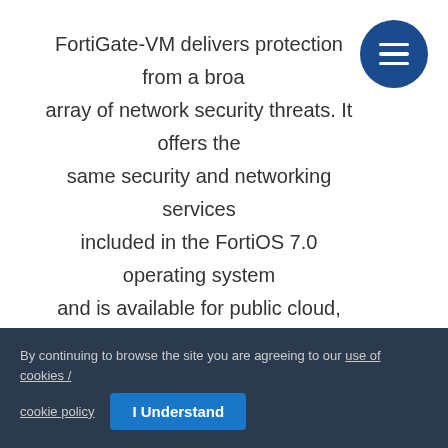FortiGate-VM delivers protection from a broad array of network security threats. It offers the same security and networking services included in the FortiOS 7.0 operating system and is available for public cloud, private cloud,....
[Figure (other): Dark blue circular menu button with three horizontal white lines (hamburger icon) in the top-right corner]
Product info
By continuing to browse the site you are agreeing to our use of cookies / cookie policy   I Understand